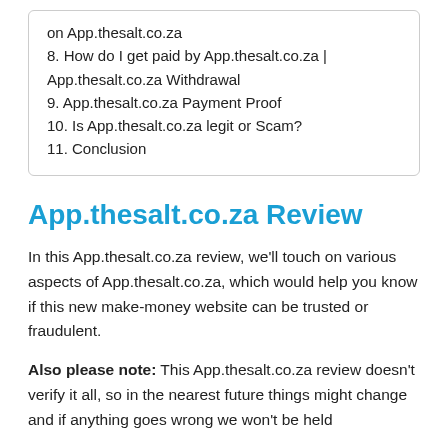on App.thesalt.co.za
8. How do I get paid by App.thesalt.co.za | App.thesalt.co.za Withdrawal
9. App.thesalt.co.za Payment Proof
10. Is App.thesalt.co.za legit or Scam?
11. Conclusion
App.thesalt.co.za Review
In this App.thesalt.co.za review, we'll touch on various aspects of App.thesalt.co.za, which would help you know if this new make-money website can be trusted or fraudulent.
Also please note: This App.thesalt.co.za review doesn't verify it all, so in the nearest future things might change and if anything goes wrong we won't be held